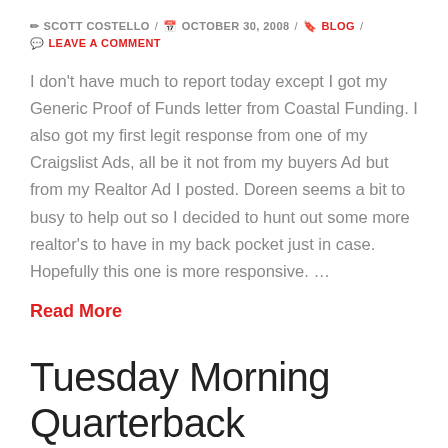✏ SCOTT COSTELLO / 📅 OCTOBER 30, 2008 / 🔖 BLOG / 💬 LEAVE A COMMENT
I don't have much to report today except I got my Generic Proof of Funds letter from Coastal Funding. I also got my first legit response from one of my Craigslist Ads, all be it not from my buyers Ad but from my Realtor Ad I posted. Doreen seems a bit to busy to help out so I decided to hunt out some more realtor's to have in my back pocket just in case. Hopefully this one is more responsive. …
Read More
Tuesday Morning Quarterback